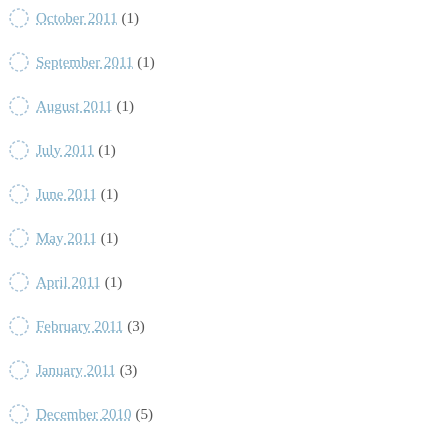October 2011 (1)
September 2011 (1)
August 2011 (1)
July 2011 (1)
June 2011 (1)
May 2011 (1)
April 2011 (1)
February 2011 (3)
January 2011 (3)
December 2010 (5)
November 2010 (5)
October 2010 (1)
June 2010 (4)
May 2010 (1)
April 2010 (1)
March 2010 (2)
February 2010 (1)
January 2010 (1)
November 2009 (2)
October 2009 (1)
September 2009 (3)
March 2009 (1)
September 2008 (2)
August 2008 (3)
July 2008 (1)